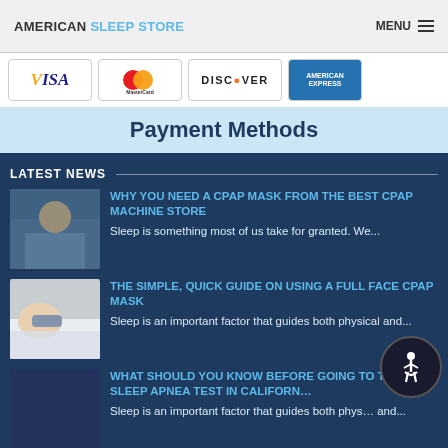AMERICAN SLEEP STORE  MENU
[Figure (infographic): Payment methods banner showing Visa, MasterCard, Discover, and American Express card logos above a light blue 'Payment Methods' title bar]
LATEST NEWS
[Figure (photo): Photo of elderly woman, thumbnail for CPAP mask article]
WHY YOU NEED A CPAP MASK FROM THE BEST CPAP MACHINE STORE
Sleep is something most of us take for granted. We...
[Figure (photo): Photo of person sleeping with CPAP mask, thumbnail for full face CPAP mask article]
THE SIMPLE, QUICK GUIDE ON USING A FULL FACE CPAP MASK
Sleep is an important factor that guides both physical and...
[Figure (photo): Dark thumbnail image for DOT sleep apnea test article]
WHAT SHOULD YOU KNOW BEFORE GOING TO THE DOT SLEEP APNEA TEST IN CALIFORNIA
Sleep is an important factor that guides both physical and...
[Figure (photo): Thumbnail for lab sleep study article]
THINGS TO ASK BEFORE YOU BOOK IN LAB SLEEP STUDY IN CALIFORNIA